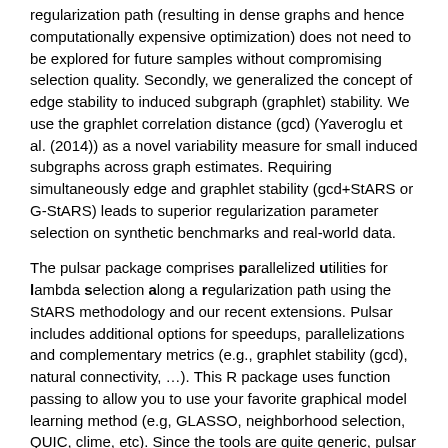regularization path (resulting in dense graphs and hence computationally expensive optimization) does not need to be explored for future samples without compromising selection quality. Secondly, we generalized the concept of edge stability to induced subgraph (graphlet) stability. We use the graphlet correlation distance (gcd) (Yaveroglu et al. (2014)) as a novel variability measure for small induced subgraphs across graph estimates. Requiring simultaneously edge and graphlet stability (gcd+StARS or G-StARS) leads to superior regularization parameter selection on synthetic benchmarks and real-world data.
The pulsar package comprises parallelized utilities for lambda selection along a regularization path using the StARS methodology and our recent extensions. Pulsar includes additional options for speedups, parallelizations and complementary metrics (e.g., graphlet stability (gcd), natural connectivity, ...). This R package uses function passing to allow you to use your favorite graphical model learning method (e.g, GLASSO, neighborhood selection, QUIC, clime, etc). Since the tools are quite generic, pulsar can be used for other regularized problem formulations, e.g., for regularized regression (with the LASSO) or by using other sparsity-inducing norms (e.g., SCAD, MCP, ...)
The option to find lower/upper bounds on the StARS-selected...